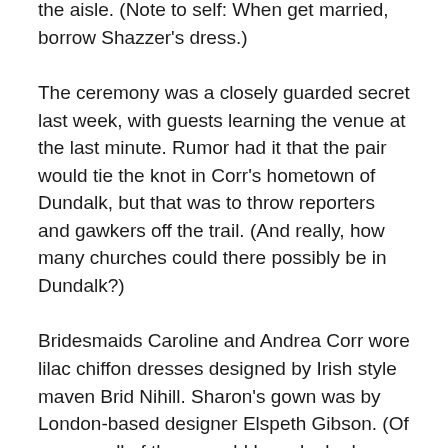the aisle. (Note to self: When get married, borrow Shazzer's dress.)
The ceremony was a closely guarded secret last week, with guests learning the venue at the last minute. Rumor had it that the pair would tie the knot in Corr's hometown of Dundalk, but that was to throw reporters and gawkers off the trail. (And really, how many churches could there possibly be in Dundalk?)
Bridesmaids Caroline and Andrea Corr wore lilac chiffon dresses designed by Irish style maven Brid Nihill. Sharon's gown was by London-based designer Elspeth Gibson. (Of course, all of them would have looked radiant in Hefty bags, but that's cruel fate, right?)